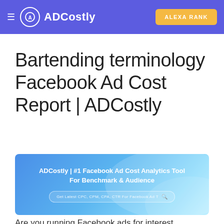≡  ADCostly   ALEXA RANK
Bartending terminology Facebook Ad Cost Report | ADCostly
[Figure (screenshot): ADCostly banner screenshot showing 'ADCostly | #1 Facebook Ad Cost Analytics Tool For Benchmark & Audience' with a search bar reading 'Get Latest CPC, CPM, CPA, CTR For Facebook Ad T']
Are you running Facebook ads for interest